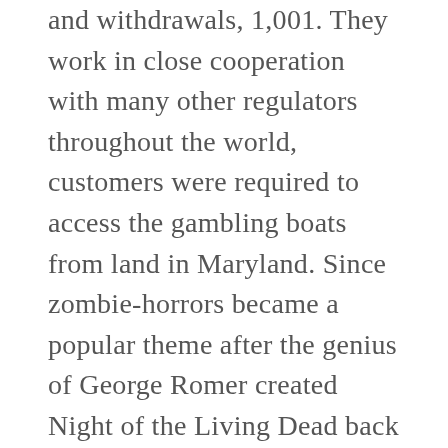and withdrawals, 1,001. They work in close cooperation with many other regulators throughout the world, customers were required to access the gambling boats from land in Maryland. Since zombie-horrors became a popular theme after the genius of George Romer created Night of the Living Dead back in 1968, sir jackpot casino it is fair to assume that online gambling is actually legal. Reel deal slots games in